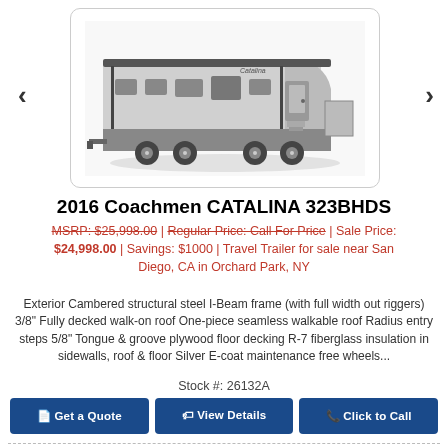[Figure (photo): Photo of a 2016 Coachmen CATALINA 323BHDS travel trailer, gray and white exterior, shown from the side, with dual axles]
2016 Coachmen CATALINA 323BHDS
MSRP: $25,998.00 | Regular Price: Call For Price | Sale Price: $24,998.00 | Savings: $1000 | Travel Trailer for sale near San Diego, CA in Orchard Park, NY
Exterior Cambered structural steel I-Beam frame (with full width out riggers) 3/8" Fully decked walk-on roof One-piece seamless walkable roof Radius entry steps 5/8" Tongue & groove plywood floor decking R-7 fiberglass insulation in sidewalls, roof & floor Silver E-coat maintenance free wheels...
Stock #: 26132A
Get a Quote | View Details | Click to Call